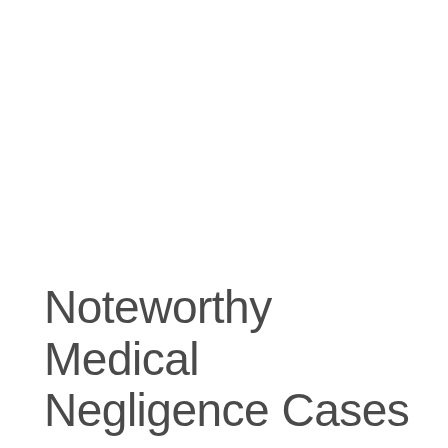Noteworthy Medical Negligence Cases
Medical Negligence / January 21, 2021
Emmet Halley, the firm's senior partner,  recently